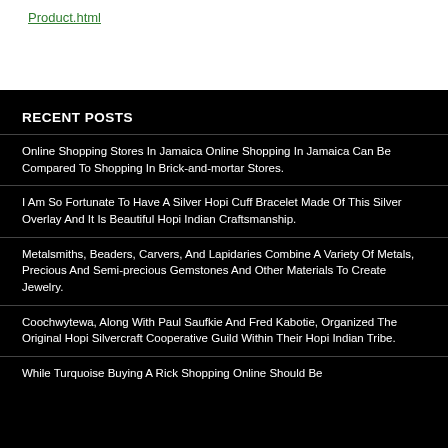Product.html
RECENT POSTS
Online Shopping Stores In Jamaica Online Shopping In Jamaica Can Be Compared To Shopping In Brick-and-mortar Stores.
I Am So Fortunate To Have A Silver Hopi Cuff Bracelet Made Of This Silver Overlay And It Is Beautiful Hopi Indian Craftsmanship.
Metalsmiths, Beaders, Carvers, And Lapidaries Combine A Variety Of Metals, Precious And Semi-precious Gemstones And Other Materials To Create Jewelry.
Coochwytewa, Along With Paul Saufkie And Fred Kabotie, Organized The Original Hopi Silvercraft Cooperative Guild Within Their Hopi Indian Tribe.
While Turquoise Buying A Rick Shopping Online Should Be